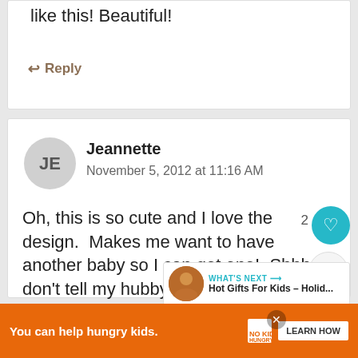like this!  Beautiful!
↩ Reply
Jeannette
November 5, 2012 at 11:16 AM
Oh, this is so cute and I love the design.  Makes me want to have another baby so I can get one!  Shhh, don't tell my hubby – LOL!
WHAT'S NEXT → Hot Gifts For Kids – Holid...
[Figure (infographic): Orange advertisement bar: 'You can help hungry kids.' No Kid Hungry logo with LEARN HOW button]